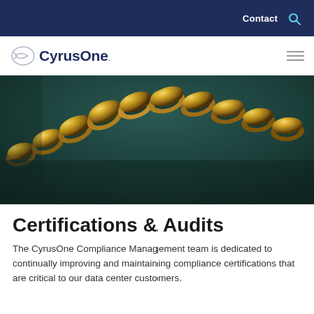Contact  🔍
[Figure (logo): CyrusOne logo with circular arrow icon and company name in dark navy blue]
[Figure (photo): Close-up photo of a golden metallic chain against a dark teal background]
Certifications & Audits
The CyrusOne Compliance Management team is dedicated to continually improving and maintaining compliance certifications that are critical to our data center customers.